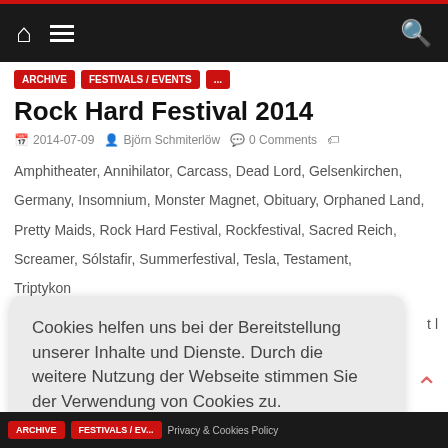Navigation bar with home, menu, and search icons
Tag buttons: Archive, Festivals / Events, (third button)
Rock Hard Festival 2014
2014-07-09  Björn Schmiterlöw  0 Comments
Amphitheater, Annihilator, Carcass, Dead Lord, Gelsenkirchen, Germany, Insomnium, Monster Magnet, Obituary, Orphaned Land, Pretty Maids, Rock Hard Festival, Rockfestival, Sacred Reich, Screamer, Sólstafir, Summerfestival, Tesla, Testament, Triptykon
Cookies helfen uns bei der Bereitstellung unserer Inhalte und Dienste. Durch die weitere Nutzung der Webseite stimmen Sie der Verwendung von Cookies zu.
Okay!
Archive  Festivals / Events  Privacy & Cookies Policy